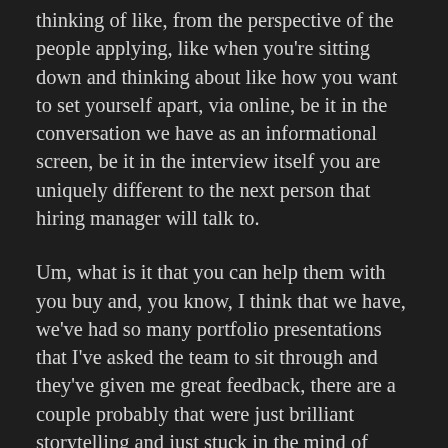thinking of like, from the perspective of the people applying, like when you're sitting down and thinking about like how you want to set yourself apart, via online, be it in the conversation we have as an informational screen, be it in the interview itself you are uniquely different to the next person that hiring manager will talk to.
Um, what is it that you can help them with you buy and, you know, I think that we have, we've had so many portfolio presentations that I've asked the team to sit through and they've given me great feedback, there are a couple probably that were just brilliant storytelling and just stuck in the mind of everybody.
Um, and it's, I think that you talked a little bit